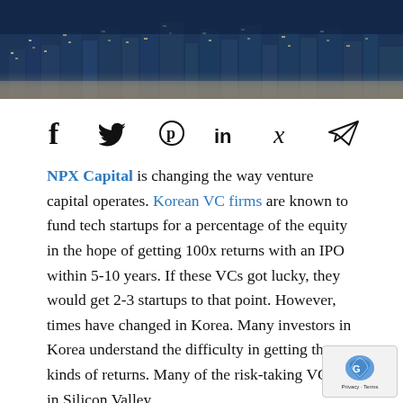[Figure (photo): Aerial nighttime cityscape of a Korean city with illuminated skyscrapers and urban grid]
[Figure (infographic): Social media sharing icons: Facebook, Twitter, Pinterest, LinkedIn, Xing, Telegram]
NPX Capital is changing the way venture capital operates. Korean VC firms are known to fund tech startups for a percentage of the equity in the hope of getting 100x returns with an IPO within 5-10 years. If these VCs got lucky, they would get 2-3 startups to that point. However, times have changed in Korea. Many investors in Korea understand the difficulty in getting those kinds of returns. Many of the risk-taking VCs are in Silicon Valley.